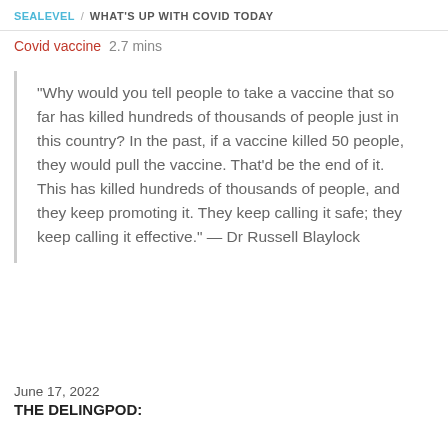SEALEVEL / WHAT'S UP WITH COVID TODAY
Covid vaccine 2.7 mins
"Why would you tell people to take a vaccine that so far has killed hundreds of thousands of people just in this country? In the past, if a vaccine killed 50 people, they would pull the vaccine. That'd be the end of it. This has killed hundreds of thousands of people, and they keep promoting it. They keep calling it safe; they keep calling it effective." — Dr Russell Blaylock
June 17, 2022
THE DELINGPOD: